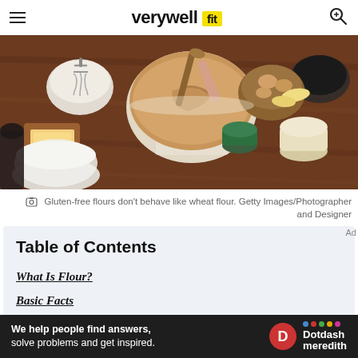verywell fit
[Figure (photo): Overhead view of gluten-free baking ingredients and mixing bowls on a wooden table, including a bowl of batter being stirred, butter, eggs, flour, and jars]
Gluten-free flours don't behave like wheat flour. Getty Images/Photographer and Designer
Table of Contents
What Is Flour?
Basic Facts
[Figure (other): Dotdash Meredith advertisement banner: 'We help people find answers, solve problems and get inspired.']